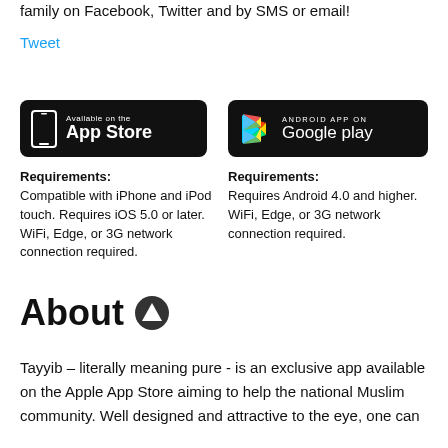family on Facebook, Twitter and by SMS or email!
Tweet
[Figure (other): App Store download button — black rounded rectangle with phone icon and text 'Available on the App Store']
[Figure (other): Google Play download button — black rounded rectangle with Play Store triangle logo and text 'ANDROID APP ON Google play']
Requirements:
Compatible with iPhone and iPod touch. Requires iOS 5.0 or later. WiFi, Edge, or 3G network connection required.
Requirements:
Requires Android 4.0 and higher. WiFi, Edge, or 3G network connection required.
About
Tayyib – literally meaning pure - is an exclusive app available on the Apple App Store aiming to help the national Muslim community. Well designed and attractive to the eye, one can easily browse and find HMC certified products, restaurants and